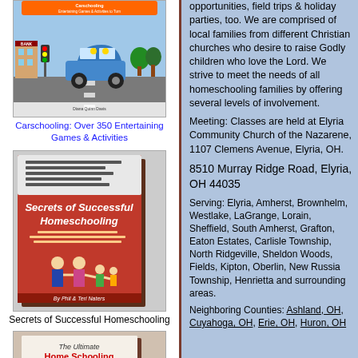[Figure (illustration): Book cover: Carschooling - Over 350 Entertaining Games & Activities, showing cartoon illustration of a car with family on a road with buildings]
Carschooling: Over 350 Entertaining Games & Activities
[Figure (illustration): Book cover: Secrets of Successful Homeschooling, red/brown cover with family illustration, by Phil & Teri Naters]
Secrets of Successful Homeschooling
[Figure (illustration): Book cover: The Ultimate Home Schooling Mom's Planner, showing a woman with children, by Cindy Long]
opportunities, field trips & holiday parties, too. We are comprised of local families from different Christian churches who desire to raise Godly children who love the Lord. We strive to meet the needs of all homeschooling families by offering several levels of involvement.
Meeting: Classes are held at Elyria Community Church of the Nazarene, 1107 Clemens Avenue, Elyria, OH.
8510 Murray Ridge Road, Elyria, OH 44035
Serving: Elyria, Amherst, Brownhelm, Westlake, LaGrange, Lorain, Sheffield, South Amherst, Grafton, Eaton Estates, Carlisle Township, North Ridgeville, Sheldon Woods, Fields, Kipton, Oberlin, New Russia Township, Henrietta and surrounding areas.
Neighboring Counties: Ashland, OH, Cuyahoga, OH, Erie, OH, Huron, OH